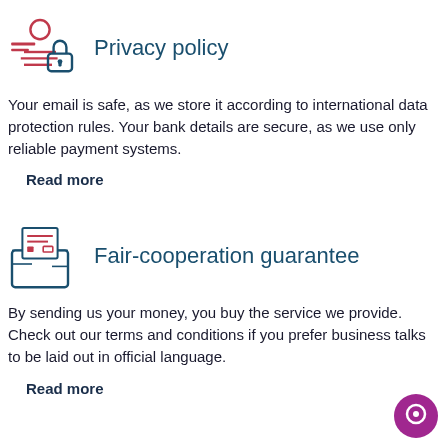[Figure (illustration): Privacy/security icon: person with lock symbol and document lines, outlined in dark teal with red accents]
Privacy policy
Your email is safe, as we store it according to international data protection rules. Your bank details are secure, as we use only reliable payment systems.
Read more
[Figure (illustration): Fair-cooperation icon: open envelope with document/letter inside, outlined in dark teal with red accents]
Fair-cooperation guarantee
By sending us your money, you buy the service we provide. Check out our terms and conditions if you prefer business talks to be laid out in official language.
Read more
[Figure (illustration): Purple circular chat/support button with white circle icon in bottom-right corner]